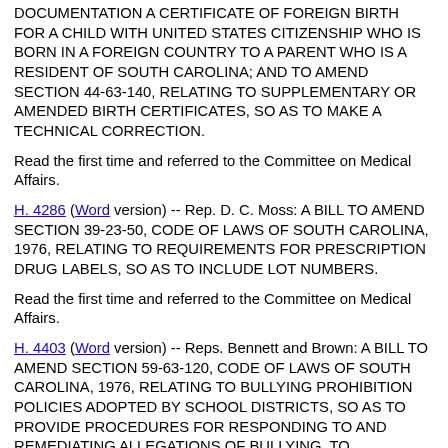DOCUMENTATION A CERTIFICATE OF FOREIGN BIRTH FOR A CHILD WITH UNITED STATES CITIZENSHIP WHO IS BORN IN A FOREIGN COUNTRY TO A PARENT WHO IS A RESIDENT OF SOUTH CAROLINA; AND TO AMEND SECTION 44-63-140, RELATING TO SUPPLEMENTARY OR AMENDED BIRTH CERTIFICATES, SO AS TO MAKE A TECHNICAL CORRECTION.
Read the first time and referred to the Committee on Medical Affairs.
H. 4286 (Word version) -- Rep. D. C. Moss: A BILL TO AMEND SECTION 39-23-50, CODE OF LAWS OF SOUTH CAROLINA, 1976, RELATING TO REQUIREMENTS FOR PRESCRIPTION DRUG LABELS, SO AS TO INCLUDE LOT NUMBERS.
Read the first time and referred to the Committee on Medical Affairs.
H. 4403 (Word version) -- Reps. Bennett and Brown: A BILL TO AMEND SECTION 59-63-120, CODE OF LAWS OF SOUTH CAROLINA, 1976, RELATING TO BULLYING PROHIBITION POLICIES ADOPTED BY SCHOOL DISTRICTS, SO AS TO PROVIDE PROCEDURES FOR RESPONDING TO AND REMEDIATING ALLEGATIONS OF BULLYING, TO